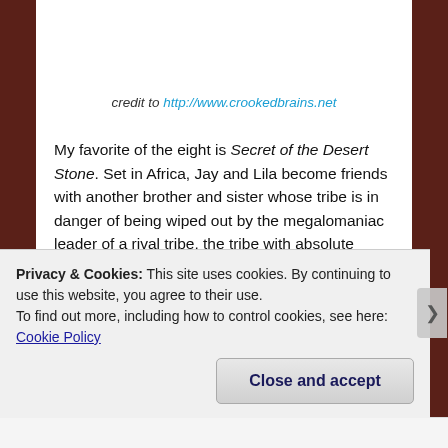[Figure (photo): Partial photo at top of page showing sandy/earthy terrain, cropped at the top edge]
credit to http://www.crookedbrains.net
My favorite of the eight is Secret of the Desert Stone. Set in Africa, Jay and Lila become friends with another brother and sister whose tribe is in danger of being wiped out by the megalomaniac leader of a rival tribe, the tribe with absolute power in running the country. Preparations for war keep us turning the pages as fast as we can. Parallels between the tribe's legends and Bible history keep us enthralled on a deeper level. As all four kids draw closer to learning Truth, the opposition trains its sights on wiping out the village that stands in it.
Privacy & Cookies: This site uses cookies. By continuing to use this website, you agree to their use.
To find out more, including how to control cookies, see here: Cookie Policy